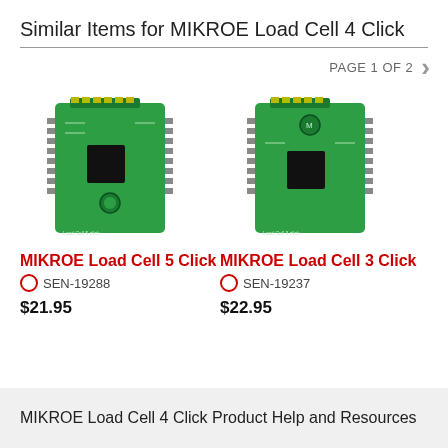Similar Items for MIKROE Load Cell 4 Click
PAGE 1 OF 2
[Figure (photo): Green PCB module - MIKROE Load Cell 5 Click board]
MIKROE Load Cell 5 Click
SEN-19288
$21.95
[Figure (photo): Green PCB module - MIKROE Load Cell 3 Click board]
MIKROE Load Cell 3 Click
SEN-19237
$22.95
MIKROE Load Cell 4 Click Product Help and Resources